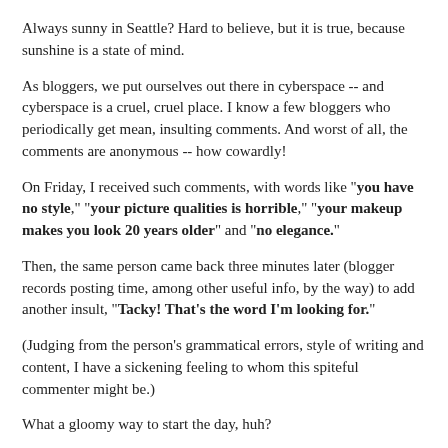Always sunny in Seattle? Hard to believe, but it is true, because sunshine is a state of mind.
As bloggers, we put ourselves out there in cyberspace -- and cyberspace is a cruel, cruel place. I know a few bloggers who periodically get mean, insulting comments. And worst of all, the comments are anonymous -- how cowardly!
On Friday, I received such comments, with words like "you have no style," "your picture qualities is horrible," "your makeup makes you look 20 years older" and "no elegance."
Then, the same person came back three minutes later (blogger records posting time, among other useful info, by the way) to add another insult, "Tacky! That's the word I'm looking for."
(Judging from the person's grammatical errors, style of writing and content, I have a sickening feeling to whom this spiteful commenter might be.)
What a gloomy way to start the day, huh?
But then, it got sunny: